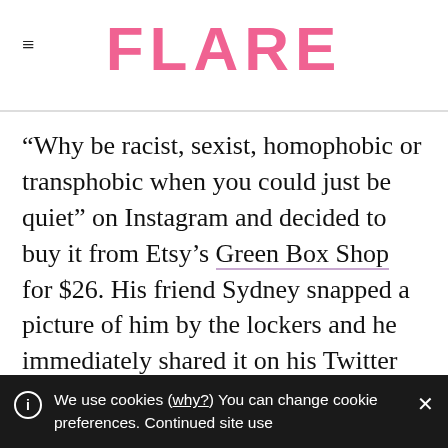FLARE
“Why be racist, sexist, homophobic or transphobic when you could just be quiet” on Instagram and decided to buy it from Etsy’s Green Box Shop for $26. His friend Sydney snapped a picture of him by the lockers and he immediately shared it on his Twitter page. But he had no idea the effect it would have: cue over 80,000 retweets, almost 200,000 likes, a lot of “WHERE IS THIS FROM” and one very big selfie smile
We use cookies (why?) You can change cookie preferences. Continued site use